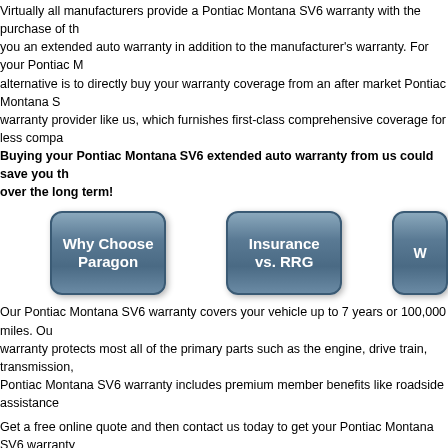Virtually all manufacturers provide a Pontiac Montana SV6 warranty with the purchase of the vehicle, but it is possible for you an extended auto warranty in addition to the manufacturer's warranty. For your Pontiac Montana SV6 the best alternative is to directly buy your warranty coverage from an after market Pontiac Montana SV6 warranty provider like us, which furnishes first-class comprehensive coverage for less. Buying your Pontiac Montana SV6 extended auto warranty from us could save you thousands of dollars over the long term!
[Figure (illustration): Two navigation buttons styled as rounded rectangle boxes with gradient blue-gray background. First button reads 'Why Choose Paragon', second reads 'Insurance vs. RRG', third is partially cut off.]
Our Pontiac Montana SV6 warranty covers your vehicle up to 7 years or 100,000 miles. Our Pontiac Montana SV6 warranty protects most all of the primary parts such as the engine, drive train, transmission, and more! Our Pontiac Montana SV6 warranty includes premium member benefits like roadside assistance
Get a free online quote and then contact us today to get your Pontiac Montana SV6 warranty
<< Pontiac Montana Warranty
Pontiac Parisienne Warranty >>
Paragon Home   Roadside Assistance   Privacy Policy
Motor club services for memberships are provided through Roadside Protect with corporate headquarters at Roadside Protect, Inc. Paragon Motor Club is a trade name owned by R
Copyright Paragon Motor Club 2008-2022. All Rights Reserved.